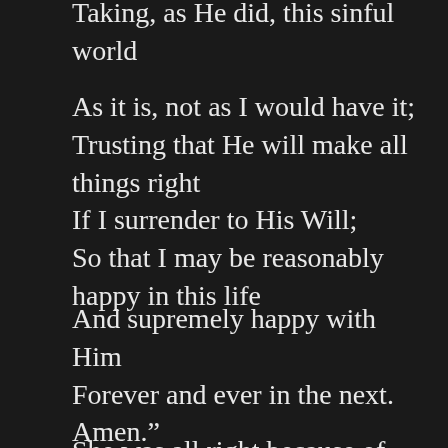Taking, as He did, this sinful world
As it is, not as I would have it;
Trusting that He will make all things right
If I surrender to His Will;
So that I may be reasonably happy in this life
And supremely happy with Him
Forever and ever in the next.
Amen."
She was all right because of kind...